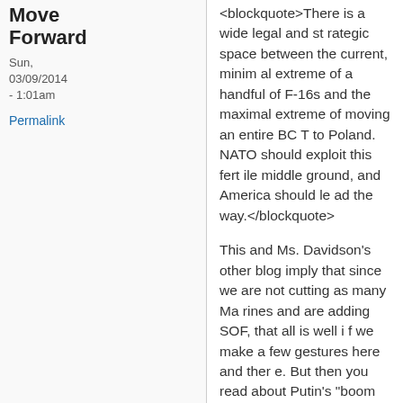Move Forward
Sun, 03/09/2014 - 1:01am
Permalink
<blockquote>There is a wide legal and strategic space between the current, minimal extreme of a handful of F-16s and the maximal extreme of moving an entire BCT to Poland. NATO should exploit this fertile middle ground, and America should lead the way.</blockquote>
This and Ms. Davidson's other blog imply that since we are not cutting as many Marines and are adding SOF, that all is well if we make a few gestures here and there. But then you read about Putin's "boomerang" and picture him seizing Pepsico assets that generate $4 billion annually in Russia, not to mention G.E. and Boeing sales. Our European allies have their own economic problems and are unlikely to rearm and reposition the combat force requ